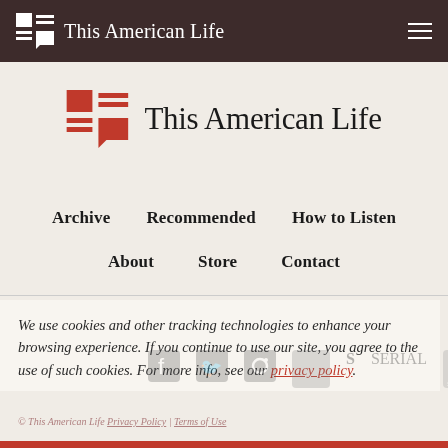This American Life
[Figure (logo): This American Life red logo mark with square and lines]
This American Life
Archive
Recommended
How to Listen
About
Store
Contact
We use cookies and other tracking technologies to enhance your browsing experience. If you continue to use our site, you agree to the use of such cookies. For more info, see our privacy policy.
© This American Life Privacy Policy | Terms of Use